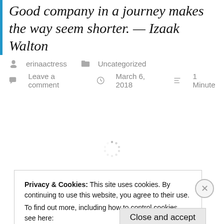Good company in a journey makes the way seem shorter. — Izaak Walton
erinaactress   Uncategorized
Leave a comment   March 6, 2018   1 Minute
[Figure (other): Loading spinner icon]
Privacy & Cookies: This site uses cookies. By continuing to use this website, you agree to their use.
To find out more, including how to control cookies, see here:
Cookie Policy
Close and accept